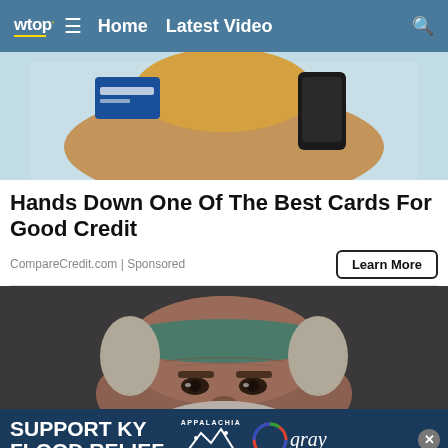wtop Home Latest Video
[Figure (photo): Woman holding a credit card in one hand and a smartphone in the other, against a light blue background]
Hands Down One Of The Best Cards For Good Credit
CompareCredit.com | Sponsored
[Figure (photo): Close-up of an older man with a grey beard wearing a teal/green headband, looking serious]
[Figure (infographic): Blue banner advertisement: SUPPORT KY FLOOD RELIEF with Appalachia Rises and gray television logos]